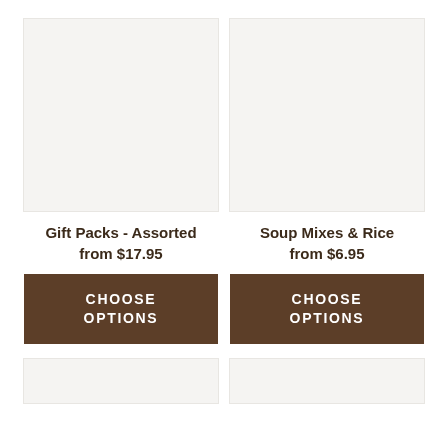[Figure (photo): Product image placeholder for Gift Packs - Assorted, light beige background]
[Figure (photo): Product image placeholder for Soup Mixes & Rice, light beige background]
Gift Packs - Assorted
from $17.95
CHOOSE OPTIONS
Soup Mixes & Rice
from $6.95
CHOOSE OPTIONS
[Figure (photo): Partial product image placeholder bottom left, light beige background]
[Figure (photo): Partial product image placeholder bottom right, light beige background]